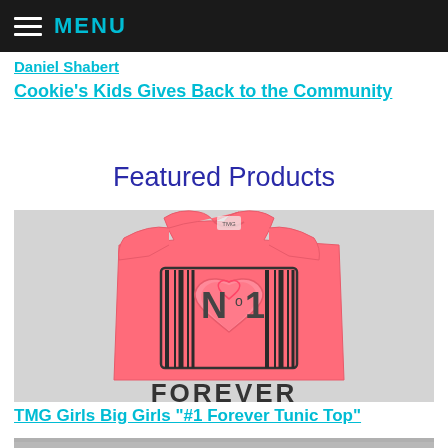MENU
Daniel Shabert
Cookie's Kids Gives Back to the Community
Featured Products
[Figure (photo): A coral/salmon colored girls t-shirt with 'No 1 Forever' graphic featuring a heart and barcode design, displayed on a light gray background]
TMG Girls Big Girls "#1 Forever Tunic Top"
[Figure (photo): Partial view of another product at the bottom of the page]